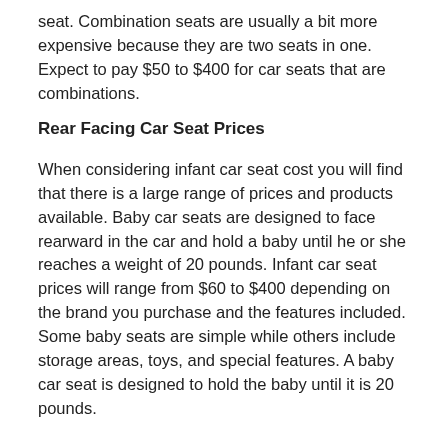seat. Combination seats are usually a bit more expensive because they are two seats in one. Expect to pay $50 to $400 for car seats that are combinations.
Rear Facing Car Seat Prices
When considering infant car seat cost you will find that there is a large range of prices and products available. Baby car seats are designed to face rearward in the car and hold a baby until he or she reaches a weight of 20 pounds. Infant car seat prices will range from $60 to $400 depending on the brand you purchase and the features included. Some baby seats are simple while others include storage areas, toys, and special features. A baby car seat is designed to hold the baby until it is 20 pounds.
Low Cost Car Seats